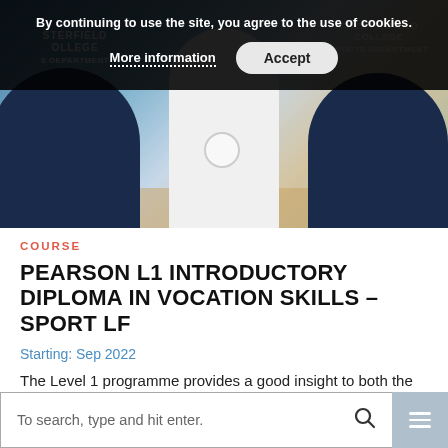[Figure (photo): Sports photo showing students in Chesterfield College Sports Department jerseys in a gymnasium, with a cookie consent banner overlay]
By continuing to use the site, you agree to the use of cookies.
More information  Accept
COURSE
PEARSON L1 INTRODUCTORY DIPLOMA IN VOCATION SKILLS – SPORT LF
Starting: Sep 2022
The Level 1 programme provides a good insight to both the Sport and...
To search, type and hit enter.